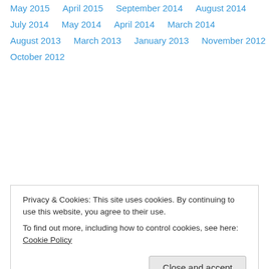May 2015
April 2015
September 2014
August 2014
July 2014
May 2014
April 2014
March 2014
August 2013
March 2013
January 2013
November 2012
October 2012
Privacy & Cookies: This site uses cookies. By continuing to use this website, you agree to their use. To find out more, including how to control cookies, see here: Cookie Policy
January 2012